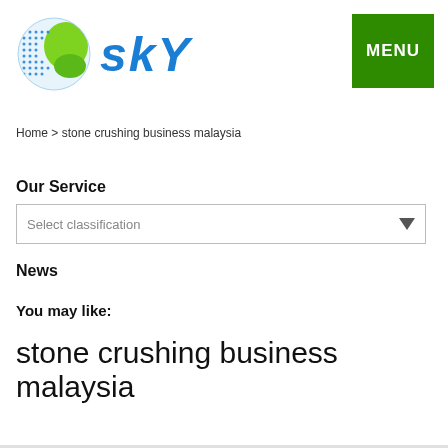[Figure (logo): Sky company logo with globe icon and SKY text in blue italic]
Home > stone crushing business malaysia
Our Service
Select classification
News
You may like:
stone crushing business malaysia